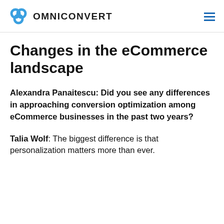OMNICONVERT
Changes in the eCommerce landscape
Alexandra Panaitescu: Did you see any differences in approaching conversion optimization among eCommerce businesses in the past two years?
Talia Wolf: The biggest difference is that personalization matters more than ever.